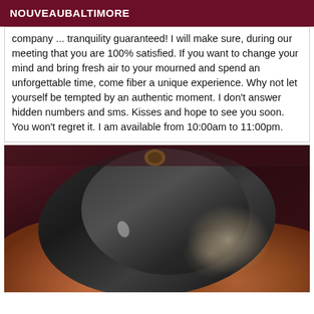NOUVEAUBALTIMORE
company ... tranquility guaranteed! I will make sure, during our meeting that you are 100% satisfied. If you want to change your mind and bring fresh air to your mourned and spend an unforgettable time, come fiber a unique experience. Why not let yourself be tempted by an authentic moment. I don't answer hidden numbers and sms. Kisses and hope to see you soon. You won't regret it. I am available from 10:00am to 11:00pm.
[Figure (photo): Close-up photo of a person wearing dark/black lingerie with lace detail, lying down against a dark reddish background.]